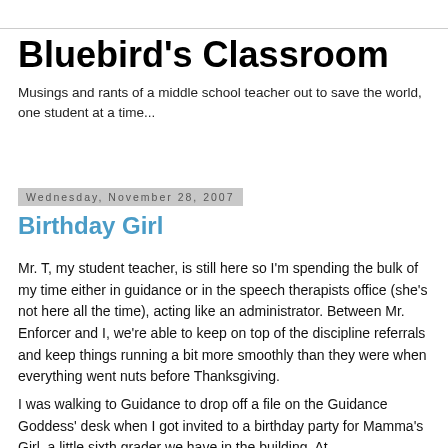Bluebird's Classroom
Musings and rants of a middle school teacher out to save the world, one student at a time...
Wednesday, November 28, 2007
Birthday Girl
Mr. T, my student teacher, is still here so I'm spending the bulk of my time either in guidance or in the speech therapists office (she's not here all the time), acting like an administrator. Between Mr. Enforcer and I, we're able to keep on top of the discipline referrals and keep things running a bit more smoothly than they were when everything went nuts before Thanksgiving.
I was walking to Guidance to drop off a file on the Guidance Goddess' desk when I got invited to a birthday party for Mamma's Girl, a little sixth grader we have in the building. At